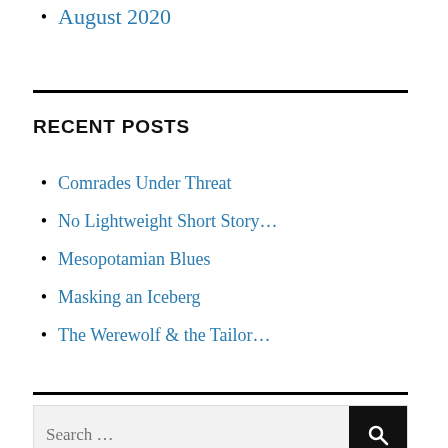August 2020
RECENT POSTS
Comrades Under Threat
No Lightweight Short Story…
Mesopotamian Blues
Masking an Iceberg
The Werewolf & the Tailor…
Search …